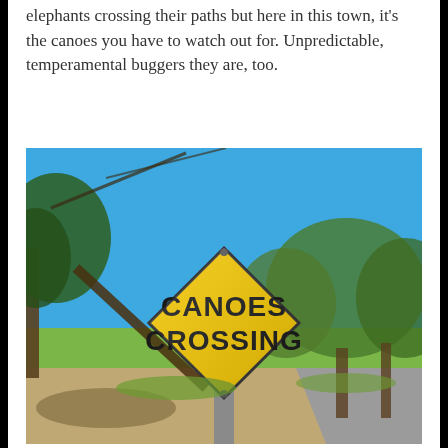elephants crossing their paths but here in this town, it's the canoes you have to watch out for. Unpredictable, temperamental buggers they are, too.
[Figure (photo): Outdoor photo of a yellow diamond-shaped road sign reading 'CANOES CROSSING' in bold black text, mounted on a metal post. Background shows a bright blue sky, trees, and a paved road.]